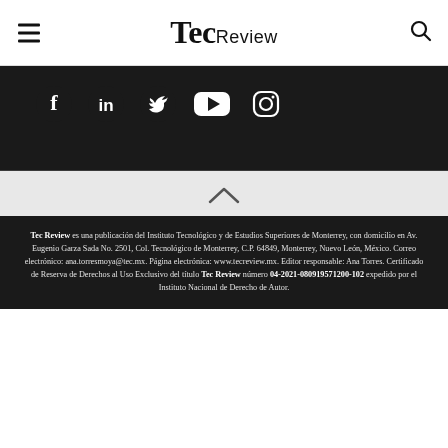Tec Review
[Figure (logo): Social media icons: Facebook, LinkedIn, Twitter, YouTube, Instagram on dark background]
Tec Review es una publicación del Instituto Tecnológico y de Estudios Superiores de Monterrey, con domicilio en Av. Eugenio Garza Sada No. 2501, Col. Tecnológico de Monterrey, C.P. 64849, Monterrey, Nuevo León, México. Correo electrónico: ana.torresmoya@tec.mx. Página electrónica: www.tecreview.mx. Editor responsable: Ana Torres. Certificado de Reserva de Derechos al Uso Exclusivo del título Tec Review número 04-2021-080919571200-102 expedido por el Instituto Nacional de Derecho de Autor.